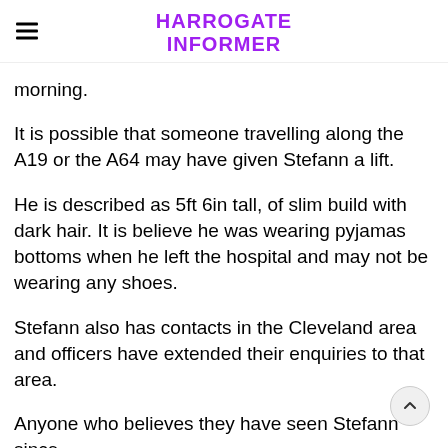HARROGATE INFORMER
morning.
It is possible that someone travelling along the A19 or the A64 may have given Stefann a lift.
He is described as 5ft 6in tall, of slim build with dark hair. It is believe he was wearing pyjamas bottoms when he left the hospital and may not be wearing any shoes.
Stefann also has contacts in the Cleveland area and officers have extended their enquiries to that area.
Anyone who believes they have seen Stefann since